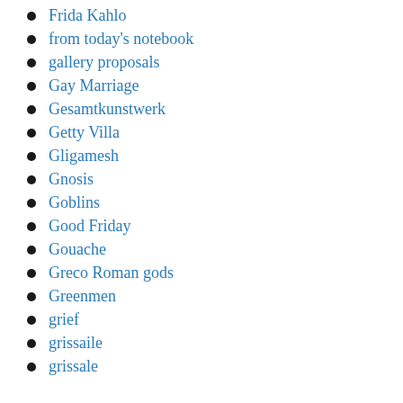Frida Kahlo
from today's notebook
gallery proposals
Gay Marriage
Gesamtkunstwerk
Getty Villa
Gligamesh
Gnosis
Goblins
Good Friday
Gouache
Greco Roman gods
Greenmen
grief
grissaile
grissale